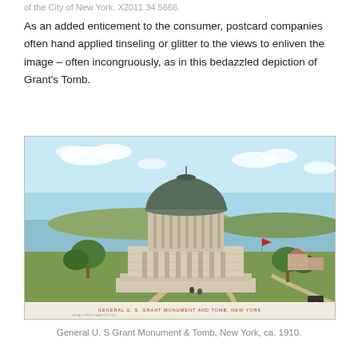of the City of New York. X2011.34.5666.
As an added enticement to the consumer, postcard companies often hand applied tinseling or glitter to the views to enliven the image – often incongruously, as in this bedazzled depiction of Grant's Tomb.
[Figure (photo): Vintage colorized postcard illustration of General U. S. Grant Monument and Tomb in New York, circa 1910. The neoclassical building features a large domed rotunda with columns, a stepped pyramid base, surrounded by landscaped grounds with trees and a river in the background. Text at bottom reads 'General U. S. Grant Monument and Tomb, New York'.]
General U. S Grant Monument & Tomb, New York, ca. 1910.